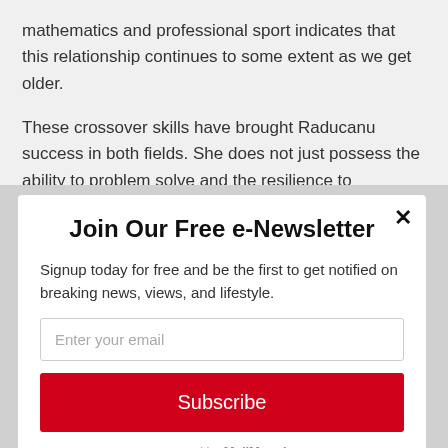mathematics and professional sport indicates that this relationship continues to some extent as we get older.
These crossover skills have brought Raducanu success in both fields. She does not just possess the ability to problem solve and the resilience to overcome adversity,
Join Our Free e-Newsletter
Signup today for free and be the first to get notified on breaking news, views, and lifestyle.
Enter your email
Subscribe
powered by MailMunch